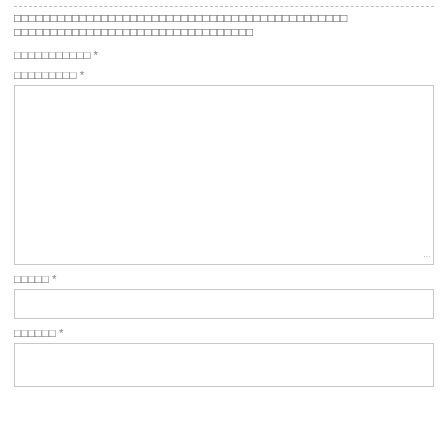□□□□□□□□□□□□□□□□□□□□□□□□□□□□□□□□□□□□□□□□□□□□□□  □□□□□□□□□□□□□□□□□□□□□□□□□□□□□□□□□
□□□□□□□□□□□ *
□□□□□□□□□ *
[Figure (other): Large empty textarea input field with resize handle at bottom-right]
□□□□□ *
[Figure (other): Single-line text input field]
□□□□□□ *
[Figure (other): Small text input field]